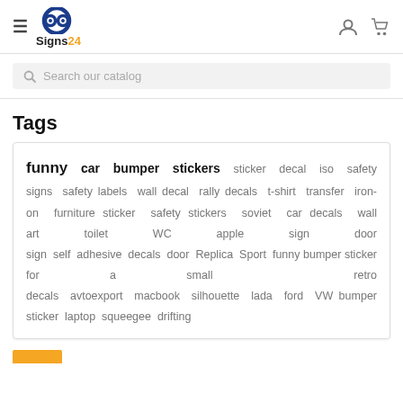Signs24 logo with hamburger menu, user icon, and cart icon
Search our catalog
Tags
funny  car  bumper  stickers  sticker  decal  iso  safety signs  safety labels  wall decal  rally decals  t-shirt  transfer  iron-on  furniture sticker  safety stickers  soviet  car decals  wall art  toilet  WC  apple  sign  door sign  self  adhesive  decals  door  Replica  Sport  funny bumper sticker for a small  retro decals  avtoexport  macbook  silhouette  lada  ford  VW bumper sticker  laptop  squeegee  drifting